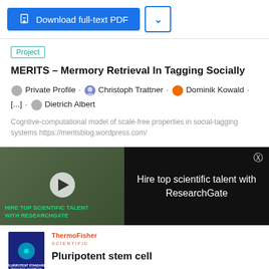[Figure (screenshot): Download full-text PDF button (blue) with dropdown arrow button]
Project
MERITS – Mermory Retrieval In Tagging Socially
Private Profile · Christoph Trattner · Dominik Kowald · [...] · Dietrich Albert
Cogntive-computational model of scale-free properties in social-tagging systems https://meritsblog.wordpress.com/
[Figure (photo): Video thumbnail showing scientists in lab coats with overlay text 'HIRE TOP SCIENTIFIC TALENT WITH RESEARCHGATE' and text 'Hire top scientific talent with ResearchGate']
[Figure (illustration): Pluripotent stem cell handbook cover image from ThermoFisher Scientific]
Pluripotent stem cell